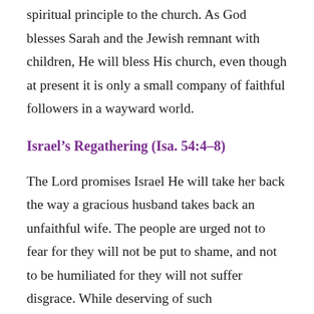spiritual principle to the church. As God blesses Sarah and the Jewish remnant with children, He will bless His church, even though at present it is only a small company of faithful followers in a wayward world.
Israel's Regathering (Isa. 54:4–8)
The Lord promises Israel He will take her back the way a gracious husband takes back an unfaithful wife. The people are urged not to fear for they will not be put to shame, and not to be humiliated for they will not suffer disgrace. While deserving of such consequences for their spiritual adultery, the Israelites will be welcomed into the arms of a faithful and forgiving Husband. And who is this Husband? Their “Maker –